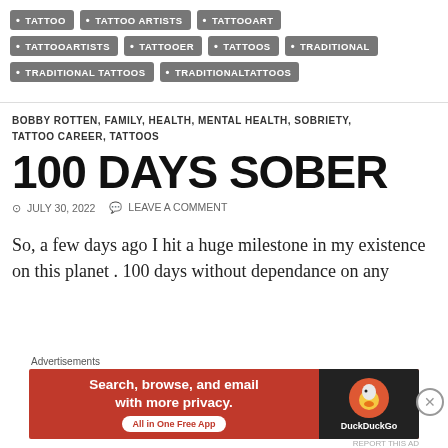TATTOO
TATTOO ARTISTS
TATTOOART
TATTOOARTISTS
TATTOOER
TATTOOS
TRADITIONAL
TRADITIONAL TATTOOS
TRADITIONALTATTOOS
BOBBY ROTTEN, FAMILY, HEALTH, MENTAL HEALTH, SOBRIETY, TATTOO CAREER, TATTOOS
100 DAYS SOBER
JULY 30, 2022   LEAVE A COMMENT
So, a few days ago I hit a huge milestone in my existence on this planet . 100 days without dependance on any
[Figure (screenshot): DuckDuckGo advertisement banner: orange background with text 'Search, browse, and email with more privacy. All in One Free App' and DuckDuckGo logo on dark background]